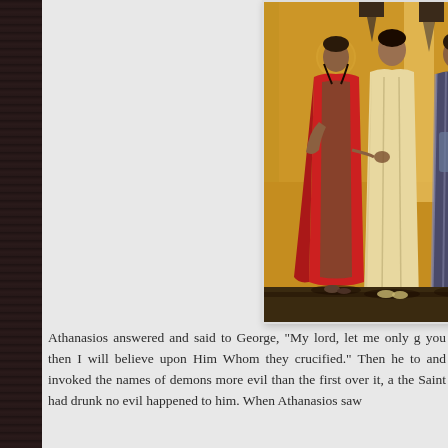[Figure (illustration): A medieval icon painting showing robed figures in warm golden-brown tones. One figure wears a red cloak, another a white/cream robe, and a third figure in striped dark garment. Byzantine or Russian Orthodox icon style painting.]
Athanasios answered and said to George, "My lord, let me only g... you then I will believe upon Him Whom they crucified." Then he to... and invoked the names of demons more evil than the first over it, a... the Saint had drunk no evil happened to him. When Athanasios saw...